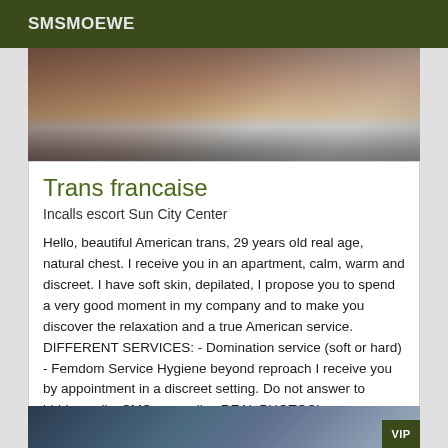SMSMOEWE
[Figure (photo): Partial photo of a person near a desk or surface, dimly lit interior scene]
Trans francaise
Incalls escort Sun City Center
Hello, beautiful American trans, 29 years old real age, natural chest. I receive you in an apartment, calm, warm and discreet. I have soft skin, depilated, I propose you to spend a very good moment in my company and to make you discover the relaxation and a true American service. DIFFERENT SERVICES: - Domination service (soft or hard) - Femdom Service Hygiene beyond reproach I receive you by appointment in a discreet setting. Do not answer to hidden calls, SMS or emails. .REAL PHOTOS!.
[Figure (photo): Bottom partial photo, dark blue tones, VIP badge visible in corner]